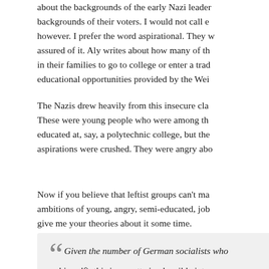about the backgrounds of the early Nazi leaders and the backgrounds of their voters. I would not call even them elitist, however. I prefer the word aspirational. They wanted to be assured of it. Aly writes about how many of them were first in their families to go to college or enter a trade, using new educational opportunities provided by the Wei...
The Nazis drew heavily from this insecure class of people. These were young people who were among the first to be educated at, say, a polytechnic college, but their career aspirations were crushed. They were angry abo...
Now if you believe that leftist groups can't make use of the ambitions of young, angry, semi-educated, job... give me your theories about it some time.
“Given the number of German socialists who... himself), this is a pretty implausible interpre...